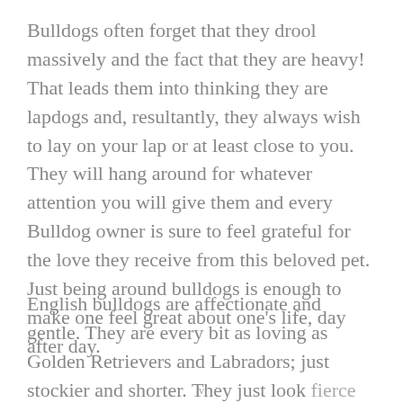Bulldogs often forget that they drool massively and the fact that they are heavy! That leads them into thinking they are lapdogs and, resultantly, they always wish to lay on your lap or at least close to you. They will hang around for whatever attention you will give them and every Bulldog owner is sure to feel grateful for the love they receive from this beloved pet. Just being around bulldogs is enough to make one feel great about one’s life, day after day.
English bulldogs are affectionate and gentle. They are every bit as loving as Golden Retrievers and Labradors; just stockier and shorter. They just look fierce and intimidating but in reality are loving and